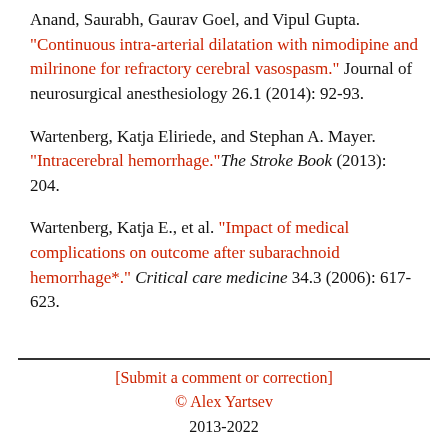Anand, Saurabh, Gaurav Goel, and Vipul Gupta. "Continuous intra-arterial dilatation with nimodipine and milrinone for refractory cerebral vasospasm." Journal of neurosurgical anesthesiology 26.1 (2014): 92-93.
Wartenberg, Katja Eliriede, and Stephan A. Mayer. "Intracerebral hemorrhage." The Stroke Book (2013): 204.
Wartenberg, Katja E., et al. "Impact of medical complications on outcome after subarachnoid hemorrhage*." Critical care medicine 34.3 (2006): 617-623.
[Submit a comment or correction]
© Alex Yartsev
2013-2022